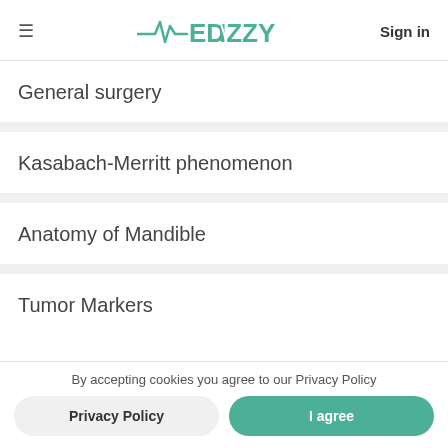MEDIZZY | Sign in
General surgery
Kasabach-Merritt phenomenon
Anatomy of Mandible
Tumor Markers
By accepting cookies you agree to our Privacy Policy
Privacy Policy
I agree